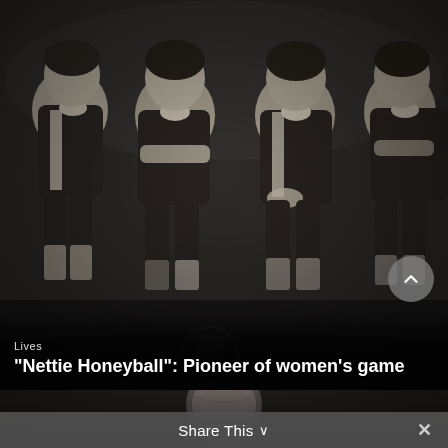[Figure (photo): Black and white historical photograph of women football players seated in a row, wearing dark uniforms with white collars and striped socks. The image shows four players visible from the waist up in the upper portion.]
Lives
“Nettie Honeyball”: Pioneer of women’s game
[Figure (photo): Partial black and white photograph showing close-up of what appears to be a football (soccer ball), heavily cropped.]
Share This